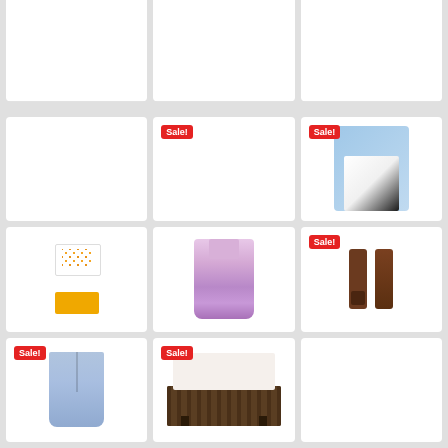[Figure (photo): Row 1 partially visible product cards - three items cut off at top]
[Figure (photo): Product card with Sale! badge - clothing item]
[Figure (photo): Product card with Sale! badge - boy's graphic t-shirt on blue background]
[Figure (photo): Floral bikini/swimwear set - white top with flowers and yellow bottoms]
[Figure (photo): Floral butterfly dress - light purple/pink]
[Figure (photo): Product card with Sale! badge - brown leather Apple Watch bands]
[Figure (photo): Product card with Sale! badge - women's light wash ripped skinny jeans]
[Figure (photo): Product card with Sale! badge - dark wood TV console/sideboard furniture]
[Figure (photo): Product card - partially visible, white background]
[Figure (photo): Row 4 partially visible product cards at bottom]